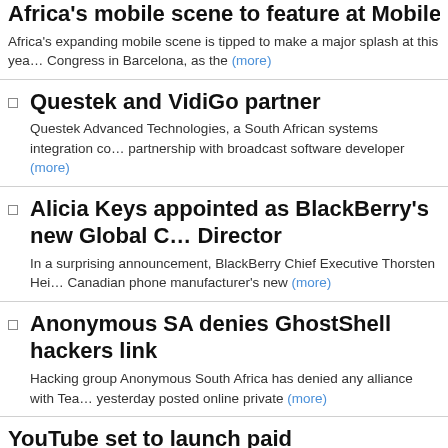Africa's mobile scene to feature at Mobile World Congress
Africa's expanding mobile scene is tipped to make a major splash at this year's Congress in Barcelona, as the (more)
Questek and VidiGo partner
Questek Advanced Technologies, a South African systems integration co... partnership with broadcast software developer (more)
Alicia Keys appointed as BlackBerry's new Global Creative Director
In a surprising announcement, BlackBerry Chief Executive Thorsten Hei... Canadian phone manufacturer's new (more)
Anonymous SA denies GhostShell hackers link
Hacking group Anonymous South Africa has denied any alliance with Tea... yesterday posted online private (more)
YouTube set to launch paid subscriptions
YouTube is preparing to launch paid subscriptions for individual channels in... in an attempt to lure content (more)